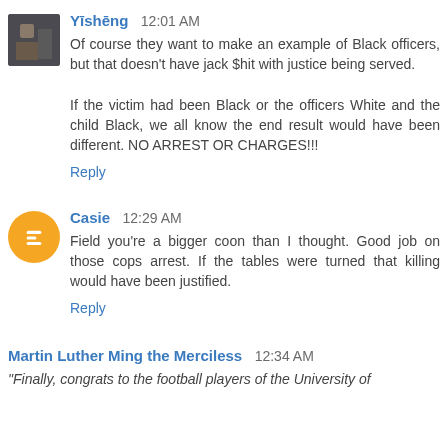Yīshēng  12:01 AM
Of course they want to make an example of Black officers, but that doesn't have jack $hit with justice being served.

If the victim had been Black or the officers White and the child Black, we all know the end result would have been different. NO ARREST OR CHARGES!!!
Reply
Casie  12:29 AM
Field you're a bigger coon than I thought. Good job on those cops arrest. If the tables were turned that killing would have been justified.
Reply
Martin Luther Ming the Merciless  12:34 AM
"Finally, congrats to the football players of the University of